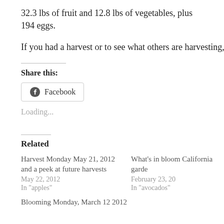32.3 lbs of fruit and 12.8 lbs of vegetables, plus 194 eggs.
If you had a harvest or to see what others are harvesting, visit D
Share this:
[Figure (other): Facebook share button with Facebook icon]
Loading...
Related
Harvest Monday May 21, 2012 and a peek at future harvests
May 22, 2012
In "apples"
What's in bloom California garde
February 23, 20
In "avocados"
Blooming Monday, March 12 2012